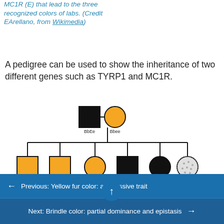MC1R (E) that lead to the three recognized colors of labs. (Credit EArellano, from Wikimedia)
A pedigree can be used to show the inheritance of two different genes such as TYRP1 and MC1R.
[Figure (other): Pedigree diagram showing inheritance of TYRP1 and MC1R genes. Parents: black filled square (BbEe) mated with yellow filled circle (Bbee). Six offspring: yellow square (BBee), yellow square (Bbee), yellow circle (bbee), black filled square (BBEe), black filled circle (BbEe), grey/white dotted circle (bbEe).]
Figure 2: In this pedigree, a [scroll icon] between an individual who is heterozygous for both
← Previous: Yellow fur color: a recessive trait
Next: Brindle color: partial dominance and epistasis →